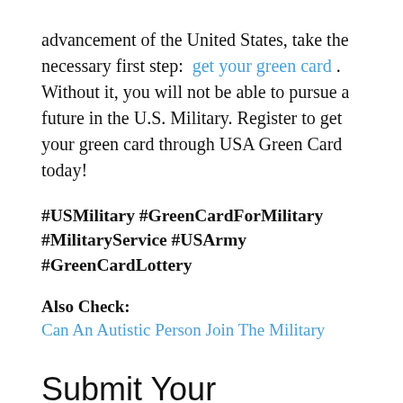advancement of the United States, take the necessary first step: get your green card. Without it, you will not be able to pursue a future in the U.S. Military. Register to get your green card through USA Green Card today!
#USMilitary #GreenCardForMilitary #MilitaryService #USArmy #GreenCardLottery
Also Check: Can An Autistic Person Join The Military
Submit Your Application 5interview
The next step is an interview with a military career